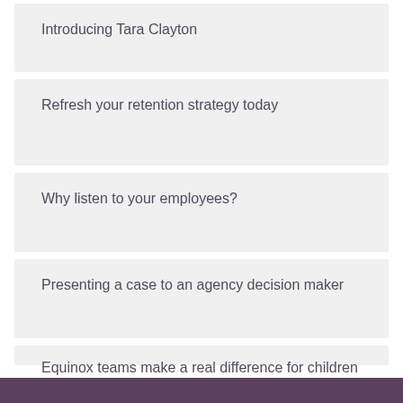Introducing Tara Clayton
Refresh your retention strategy today
Why listen to your employees?
Presenting a case to an agency decision maker
Equinox teams make a real difference for children and young people